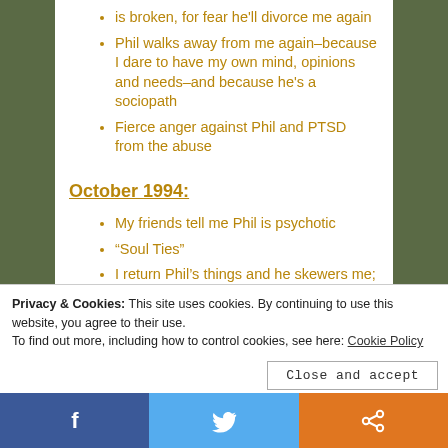is broken, for fear he'll divorce me again
Phil walks away from me again–because I dare to have my own mind, opinions and needs–and because he's a sociopath
Fierce anger against Phil and PTSD from the abuse
October 1994:
My friends tell me Phil is psychotic
“Soul Ties”
I return Phil’s things and he skewers me;
Privacy & Cookies: This site uses cookies. By continuing to use this website, you agree to their use. To find out more, including how to control cookies, see here: Cookie Policy